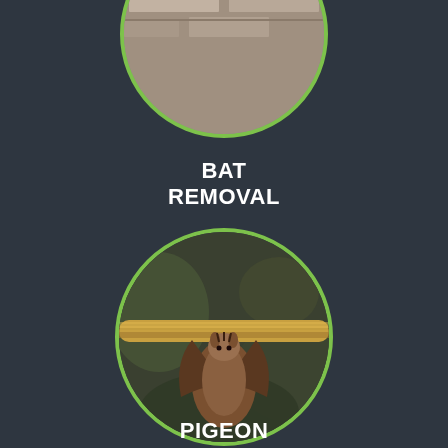[Figure (photo): Partial circular photo at top of page showing a stone wall or masonry background, partially cropped, with a green circular border.]
BAT REMOVAL
[Figure (photo): Circular photo of a bat hanging from a rope or branch, wings folded, brown fur visible, on a blurred dark green background, surrounded by a bright green circular border.]
PIGEON